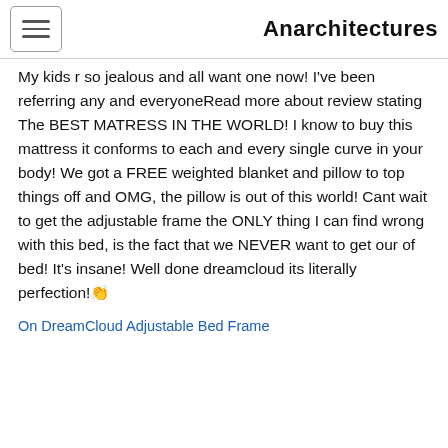Anarchitectures
My kids r so jealous and all want one now! I've been referring any and everyoneRead more about review stating The BEST MATRESS IN THE WORLD! I know to buy this mattress it conforms to each and every single curve in your body! We got a FREE weighted blanket and pillow to top things off and OMG, the pillow is out of this world! Cant wait to get the adjustable frame the ONLY thing I can find wrong with this bed, is the fact that we NEVER want to get our of bed! It's insane! Well done dreamcloud its literally perfection!👏
On DreamCloud Adjustable Bed Frame